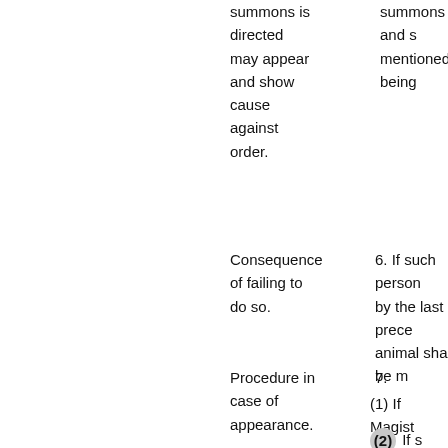summons is directed may appear and show cause against order.
summons and s mentioned being
Consequence of failing to do so.
6. If such person by the last prece animal shall be m
Procedure in case of appearance.
7.
(1) If Magist
(2) If s not be